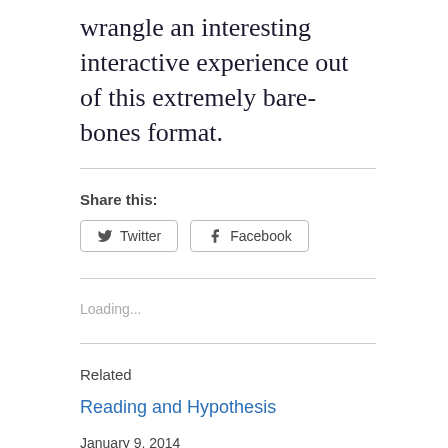wrangle an interesting interactive experience out of this extremely bare-bones format.
Share this:
[Figure (other): Social share buttons: Twitter and Facebook]
Loading...
Related
Reading and Hypothesis
January 9, 2014
In "Reviews"